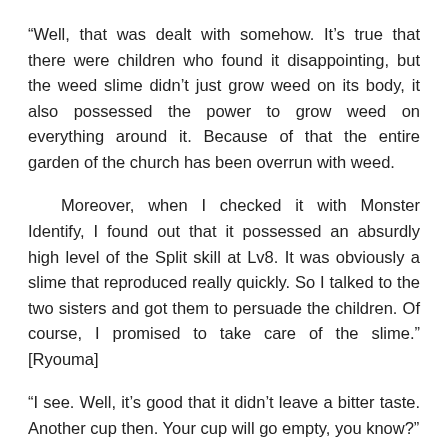“Well, that was dealt with somehow. It’s true that there were children who found it disappointing, but the weed slime didn’t just grow weed on its body, it also possessed the power to grow weed on everything around it. Because of that the entire garden of the church has been overrun with weed.
Moreover, when I checked it with Monster Identify, I found out that it possessed an absurdly high level of the Split skill at Lv8. It was obviously a slime that reproduced really quickly. So I talked to the two sisters and got them to persuade the children. Of course, I promised to take care of the slime.” [Ryouma]
“I see. Well, it’s good that it didn’t leave a bitter taste. Another cup then. Your cup will go empty, you know?”